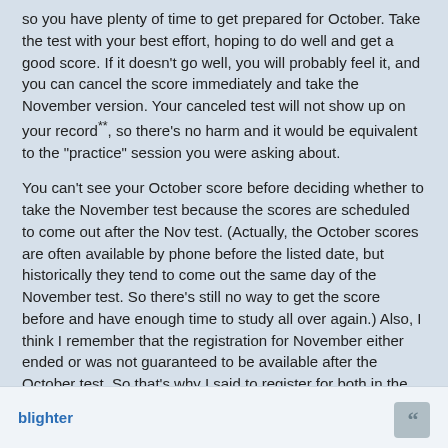so you have plenty of time to get prepared for October. Take the test with your best effort, hoping to do well and get a good score. If it doesn't go well, you will probably feel it, and you can cancel the score immediately and take the November version. Your canceled test will not show up on your record**, so there's no harm and it would be equivalent to the "practice" session you were asking about.
You can't see your October score before deciding whether to take the November test because the scores are scheduled to come out after the Nov test. (Actually, the October scores are often available by phone before the listed date, but historically they tend to come out the same day of the November test. So there's still no way to get the score before and have enough time to study all over again.) Also, I think I remember that the registration for November either ended or was not guaranteed to be available after the October test. So that's why I said to register for both in the summer. If you do cancel the Nov test after the Oct test, you can still get half of your $ back**.
**These were the policies back in 2007 when I took the PGRE and general GRE. Check the ETS website or call them to make sure things haven't changed.
blighter